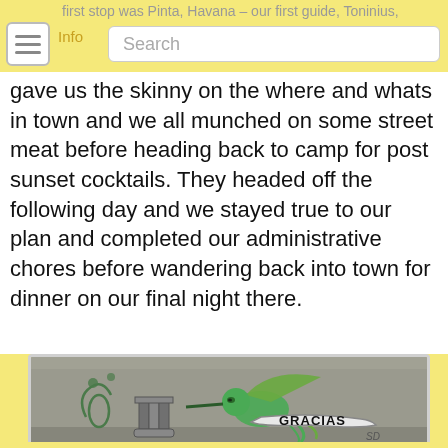first stop was Pinta, Havana – our first guide, Toninius, gave us the skinny on the where and whats in town
gave us the skinny on the where and whats in town and we all munched on some street meat before heading back to camp for post sunset cocktails. They headed off the following day and we stayed true to our plan and completed our administrative chores before wandering back into town for dinner on our final night there.
[Figure (photo): Street art / graffiti on a concrete wall showing a green hummingbird holding a banner that reads GRACIAS, with decorative floral elements and a stylized letter T on the left side. Artist signature SD visible at bottom right.]